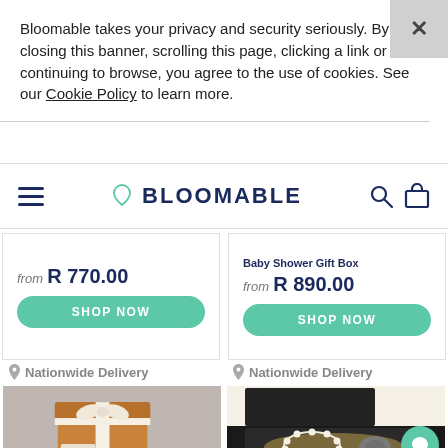Bloomable takes your privacy and security seriously. By closing this banner, scrolling this page, clicking a link or continuing to browse, you agree to the use of cookies. See our Cookie Policy to learn more.
BLOOMABLE
Baby Shower Gift Box
from R 770.00
from R 890.00
SHOP NOW
SHOP NOW
Nationwide Delivery
Nationwide Delivery
[Figure (photo): Brown cardboard gift box with white ribbon bow on marble/grey furry background, with small product labels visible.]
[Figure (photo): Open black gift box with pearl bracelet, grey stone, and other items on straw/nest interior. Teal chat bubble icon overlay.]